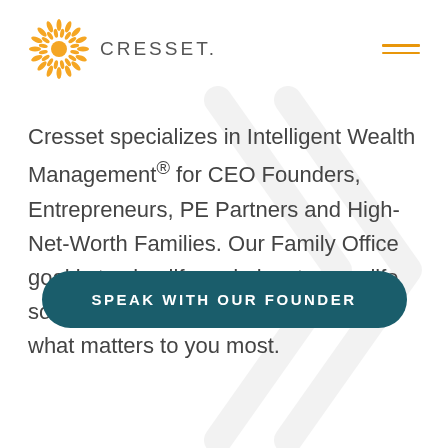[Figure (logo): Cresset logo: orange starburst sun icon with CRESSET wordmark in grey letter-spaced capitals]
Cresset specializes in Intelligent Wealth Management® for CEO Founders, Entrepreneurs, PE Partners and High-Net-Worth Families. Our Family Office goal is to simplify and elevate your life so you have more time to spend on what matters to you most.
SPEAK WITH OUR FOUNDER